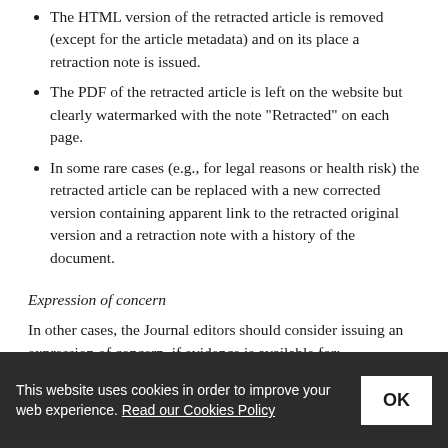The HTML version of the retracted article is removed (except for the article metadata) and on its place a retraction note is issued.
The PDF of the retracted article is left on the website but clearly watermarked with the note "Retracted" on each page.
In some rare cases (e.g., for legal reasons or health risk) the retracted article can be replaced with a new corrected version containing apparent link to the retracted original version and a retraction note with a history of the document.
Expression of concern
In other cases, the Journal editors should consider issuing an expression of concern, if evidence is available for:
Inconclusive evidence of research or publication misconduct by the authors.
Unreliable findings that are unreliable but the authors'